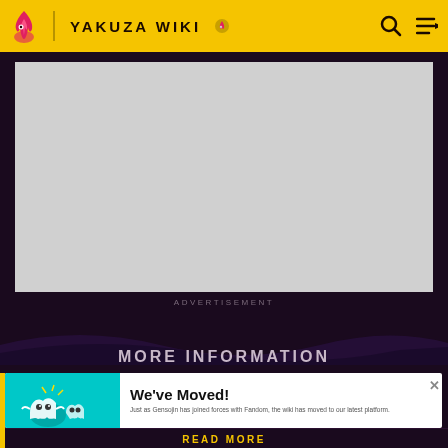YAKUZA WIKI
[Figure (screenshot): Gray advertisement placeholder block]
ADVERTISEMENT
MORE INFORMATION
We've Moved!
Just as Gensojin has joined forces with Fandom, the wiki has moved to our latest platform.
READ MORE